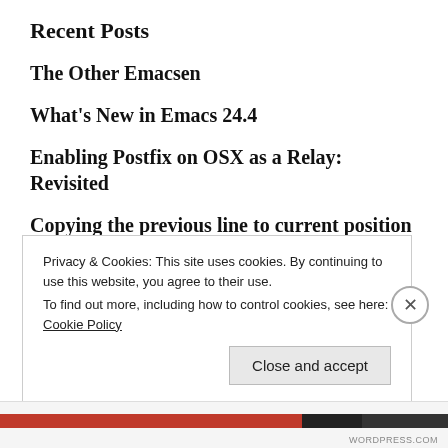Recent Posts
The Other Emacsen
What's New in Emacs 24.4
Enabling Postfix on OSX as a Relay: Revisited
Copying the previous line to current position in Emacs
OS X Mountain Lion: Need to reinstall Xcode command line tools
Privacy & Cookies: This site uses cookies. By continuing to use this website, you agree to their use.
To find out more, including how to control cookies, see here: Cookie Policy
Close and accept